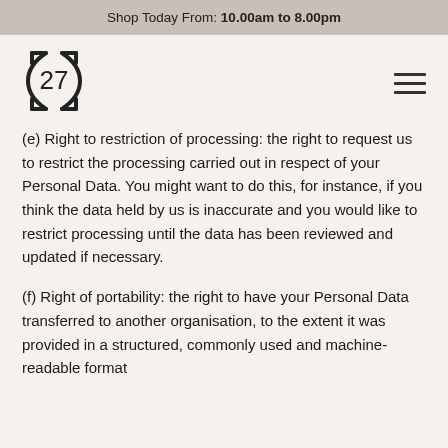Shop Today From: 10.00am to 8.00pm
[Figure (logo): 27 logo enclosed in rounded bracket shapes]
(e) Right to restriction of processing: the right to request us to restrict the processing carried out in respect of your Personal Data. You might want to do this, for instance, if you think the data held by us is inaccurate and you would like to restrict processing until the data has been reviewed and updated if necessary.
(f) Right of portability: the right to have your Personal Data transferred to another organisation, to the extent it was provided in a structured, commonly used and machine-readable format